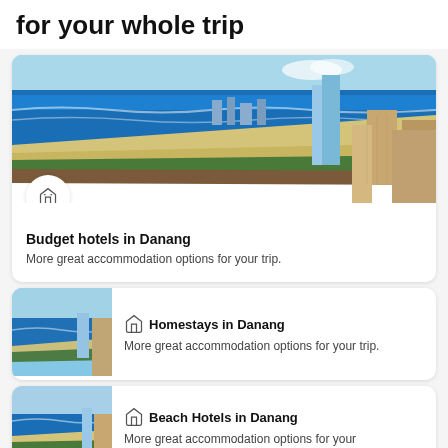for your whole trip
[Figure (photo): Aerial view of Da Nang beach coastline with blue ocean, sandy beach, and city buildings]
Budget hotels in Danang
More great accommodation options for your trip.
[Figure (photo): Aerial view of Da Nang beach coastline thumbnail]
Homestays in Danang
More great accommodation options for your trip.
[Figure (photo): Aerial view of Da Nang beach coastline thumbnail]
Beach Hotels in Danang
More great accommodation options for your